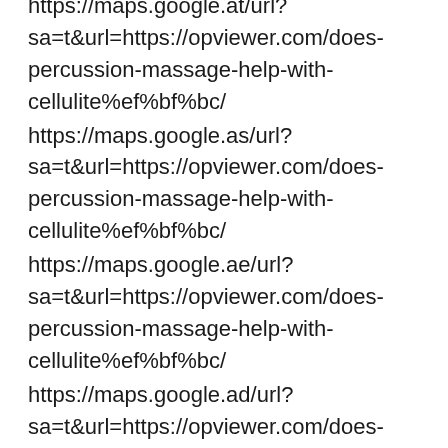https://maps.google.at/url?sa=t&url=https://opviewer.com/does-percussion-massage-help-with-cellulite%ef%bf%bc/
https://maps.google.as/url?sa=t&url=https://opviewer.com/does-percussion-massage-help-with-cellulite%ef%bf%bc/
https://maps.google.ae/url?sa=t&url=https://opviewer.com/does-percussion-massage-help-with-cellulite%ef%bf%bc/
https://maps.google.ad/url?sa=t&url=https://opviewer.com/does-percussion-massage-help-with-cellulite%ef%bf%bc/